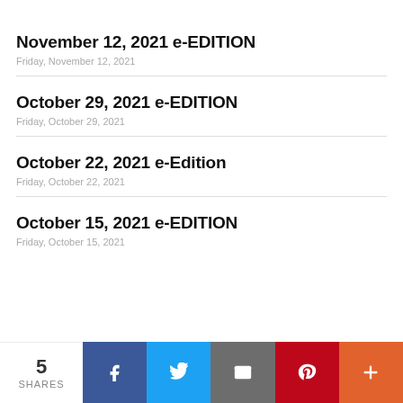November 12, 2021 e-EDITION
Friday, November 12, 2021
October 29, 2021 e-EDITION
Friday, October 29, 2021
October 22, 2021 e-Edition
Friday, October 22, 2021
October 15, 2021 e-EDITION
Friday, October 15, 2021
5 SHARES | Facebook | Twitter | Email | Pinterest | More